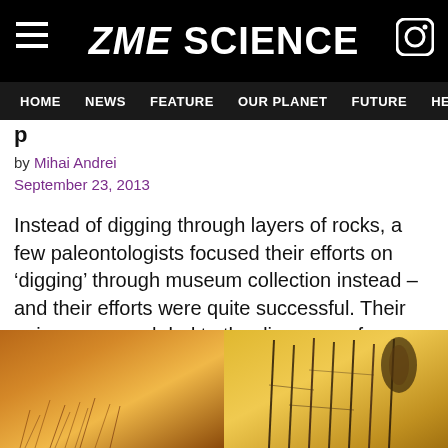ZME SCIENCE
HOME | NEWS | FEATURE | OUR PLANET | FUTURE | HEALT
p
by Mihai Andrei
September 23, 2013
Instead of digging through layers of rocks, a few paleontologists focused their efforts on ‘digging’ through museum collection instead – and their efforts were quite successful. Their unique approach led to the discovery of never-before seen structures, which they think are something called dino-fuzz.
[Figure (photo): Two close-up photographs side by side: left shows amber-colored fossilized material with fuzzy/fibrous texture; right shows thin dark hair-like structures (dino-fuzz) against yellow amber background.]